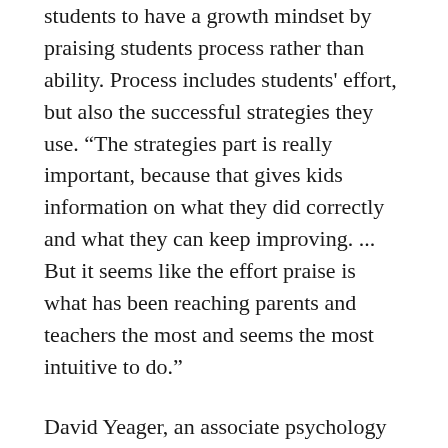students to have a growth mindset by praising students process rather than ability. Process includes students' effort, but also the successful strategies they use. “The strategies part is really important, because that gives kids information on what they did correctly and what they can keep improving. ... But it seems like the effort praise is what has been reaching parents and teachers the most and seems the most intuitive to do.”
David Yeager, an associate psychology professor and mindset researcher at the University of Texas at Austin, agreed. In his own national study of students’ learning mindsets, he said when teachers reported preferring to praise students’ effort alone, students weren’t particularly likely to think teachers’ had a growth mindset themselves. In fact, Yeager and Carol Dweck, the Stanford University researcher who first coined the term “growth mindset,” have come to consider a focus on effort praise alone to be a